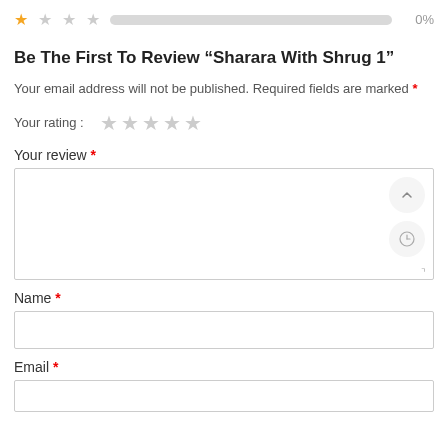[Figure (infographic): Star rating row with 1 filled star and 4 empty stars, a gray progress bar, and 0% label]
Be The First To Review “Sharara With Shrug 1”
Your email address will not be published. Required fields are marked *
Your rating: (5 empty stars)
Your review *
Name *
Email *